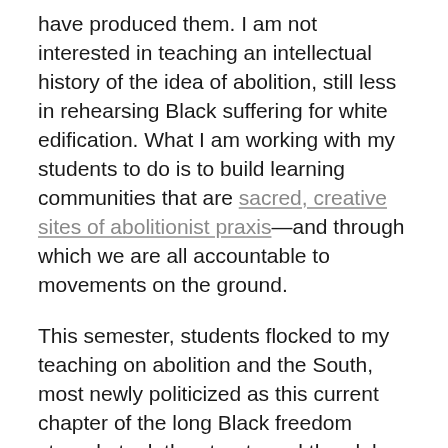have produced them. I am not interested in teaching an intellectual history of the idea of abolition, still less in rehearsing Black suffering for white edification. What I am working with my students to do is to build learning communities that are sacred, creative sites of abolitionist praxis—and through which we are all accountable to movements on the ground.
This semester, students flocked to my teaching on abolition and the South, most newly politicized as this current chapter of the long Black freedom struggle took the streets and the globe in the wake of George Floyd's murder. In the days following the election, I brought the SMA9 plan and Spirit's breathwork for Oya to my students. My undergraduate class was immersed in pod presentations on mapping how "if the prison is everywhere, then abolition must be, too" at sites of their choosing, including the prison, city...